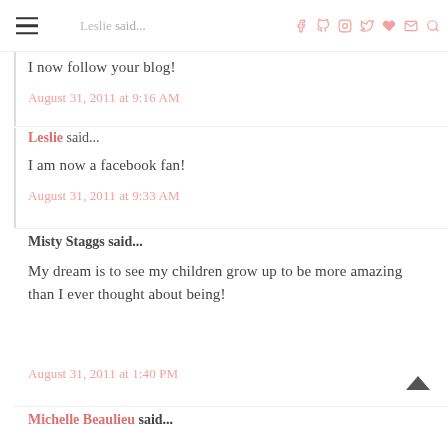Leslie said... [navigation header with social icons]
I now follow your blog!
August 31, 2011 at 9:16 AM
Leslie said...
I am now a facebook fan!
August 31, 2011 at 9:33 AM
Misty Staggs said...
My dream is to see my children grow up to be more amazing than I ever thought about being!
August 31, 2011 at 1:40 PM
Michelle Beaulieu said...